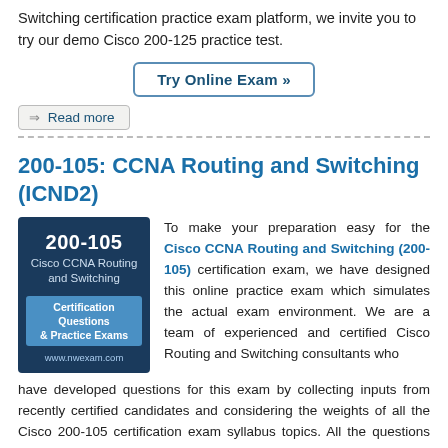Switching certification practice exam platform, we invite you to try our demo Cisco 200-125 practice test.
Try Online Exam »
⇒ Read more
200-105: CCNA Routing and Switching (ICND2)
[Figure (other): Dark blue certification badge for 200-105 Cisco CCNA Routing and Switching, with 'Certification Questions & Practice Exams' and 'www.nwexam.com']
To make your preparation easy for the Cisco CCNA Routing and Switching (200-105) certification exam, we have designed this online practice exam which simulates the actual exam environment. We are a team of experienced and certified Cisco Routing and Switching consultants who have developed questions for this exam by collecting inputs from recently certified candidates and considering the weights of all the Cisco 200-105 certification exam syllabus topics. All the questions are similar to what you will face in the actual Cisco Certified